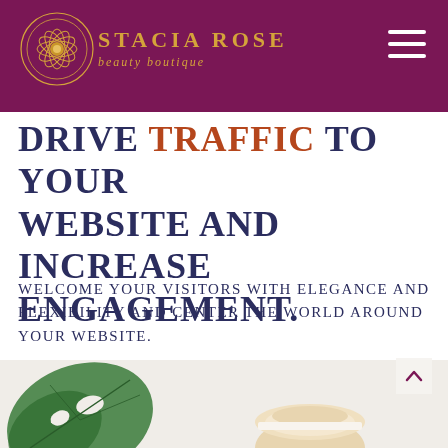Stacia Rose Beauty Boutique — navigation header with logo and hamburger menu
Drive TRAFFIC to your website and increase engagement.
Welcome your visitors with elegance and flexibility and center the world around your website.
[Figure (photo): Bottom strip showing a green monstera leaf and beauty product (cream jar) on a white background]